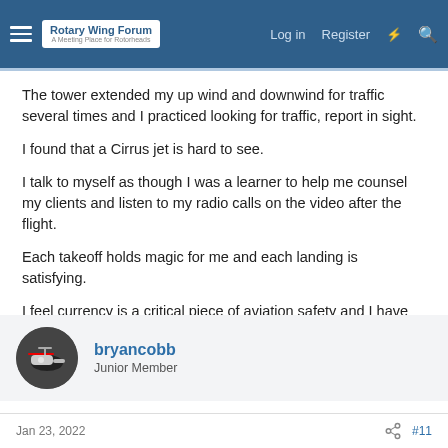Rotary Wing Forum — A Meeting Place for Rotorheads | Log in | Register
The tower extended my up wind and downwind for traffic several times and I practiced looking for traffic, report in sight.
I found that a Cirrus jet is hard to see.
I talk to myself as though I was a learner to help me counsel my clients and listen to my radio calls on the video after the flight.
Each takeoff holds magic for me and each landing is satisfying.
I feel currency is a critical piece of aviation safety and I have only flown once since October 15 so I do not feel current.
bryancobb
Junior Member
Jan 23, 2022  #11